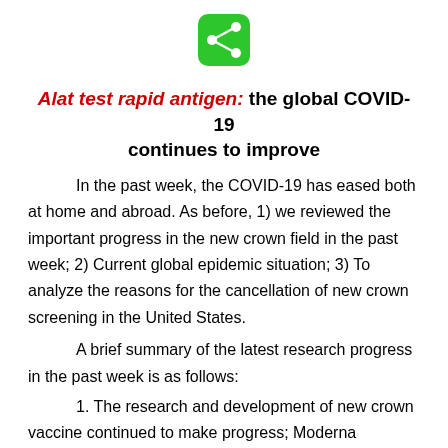[Figure (other): Green share button icon with white share symbol]
Alat test rapid antigen: the global COVID-19 continues to improve
In the past week, the COVID-19 has eased both at home and abroad. As before, 1) we reviewed the important progress in the new crown field in the past week; 2) Current global epidemic situation; 3) To analyze the reasons for the cancellation of new crown screening in the United States.
A brief summary of the latest research progress in the past week is as follows:
1. The research and development of new crown vaccine continued to make progress; Moderna company of the United States first reported a new coronal vaccine with bivalent mRNA,